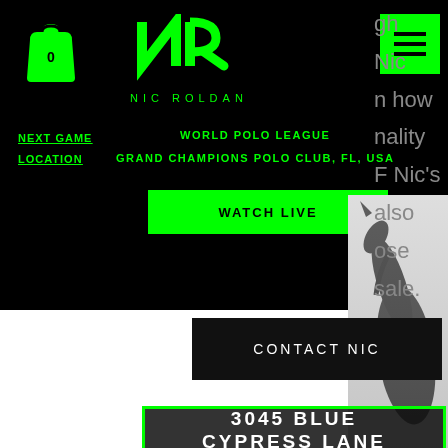[Figure (screenshot): Black header section of Nic Roldan website with green shopping bag icon (showing '0'), NR logo in green, 'NIC ROLDAN' text, green hamburger menu button, 'NEXT GAME LOCATION' links in green underlined text, 'WORLD POLO LEAGUE' and 'GRAND CHAMPIONS POLO CLUB, FL, USA' text in green, and a green 'WATCH LIVE' button]
gh Nic n how nality F Nic's also ose sale.
[Figure (photo): Black and white photo of a dark horse viewed from behind/side, showing its neck and head raised]
CONTACT NIC
3045 BLUE CYPRESS LANE